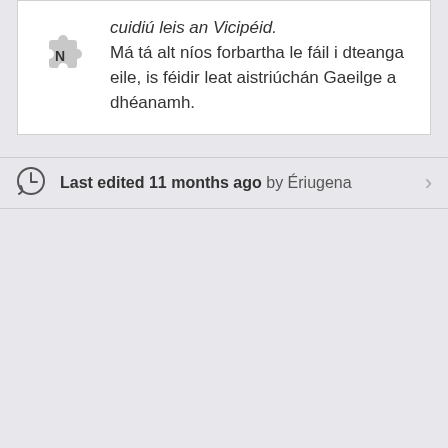cuidiú leis an Vicipéid. Má tá alt níos forbartha le fáil i dteanga eile, is féidir leat aistriúchán Gaeilge a dhéanamh.
Last edited 11 months ago by Ériugena